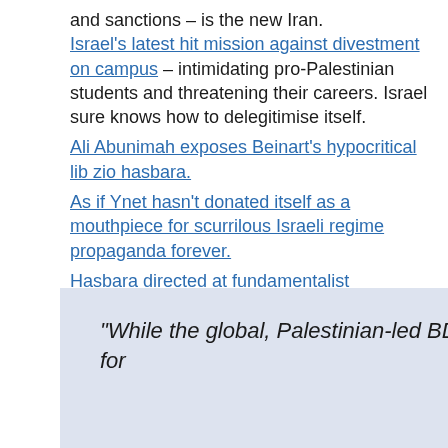and sanctions – is the new Iran. Israel's latest hit mission against divestment on campus – intimidating pro-Palestinian students and threatening their careers. Israel sure knows how to delegitimise itself.
Ali Abunimah exposes Beinart's hypocritical lib zio hasbara.
As if Ynet hasn't donated itself as a mouthpiece for scurrilous Israeli regime propaganda forever.
Hasbara directed at fundamentalist Christians
“While the global, Palestinian-led BDS movement for